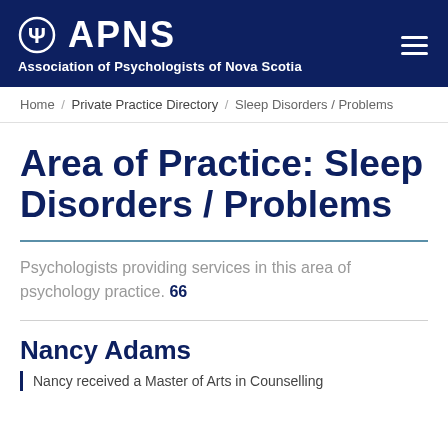ΨΑΡΝς Association of Psychologists of Nova Scotia
Home / Private Practice Directory / Sleep Disorders / Problems
Area of Practice: Sleep Disorders / Problems
Psychologists providing services in this area of psychology practice. 66
Nancy Adams
Nancy received a Master of Arts in Counselling